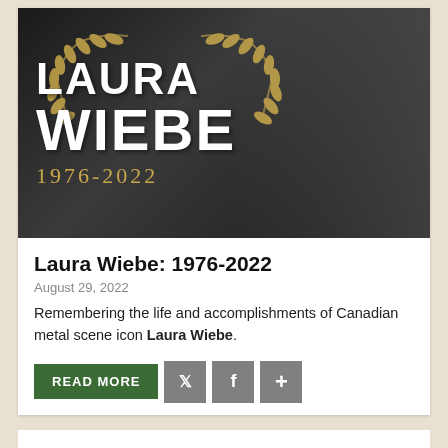[Figure (photo): Black and white photo of Laura Wiebe wearing sunglasses and a dark jacket, making a hand gesture. Overlaid with bold white text 'LAURA WIEBE' and golden text '1976-2022' with decorative laurel wreath graphic.]
Laura Wiebe: 1976-2022
August 29, 2022
Remembering the life and accomplishments of Canadian metal scene icon Laura Wiebe.
READ MORE